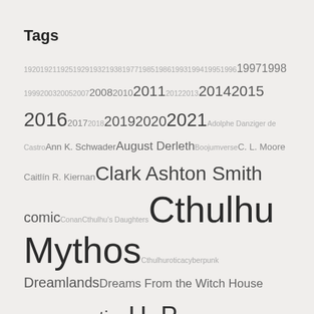Tags
1920 1921 1925 1929 1932 1938 1977 1985 1986 1993 1994 1995 1996 1997 1998 1999 2003 2005 2007 2008 2010 2011 2012 2013 2014 2015 2016 2017 2018 2019 2020 2021 Adolphe Danziger de Castro Ann K. Schwader August Derleth Boojumverse C. L. Moore Caitlín R. Kiernan Clark Ashton Smith comic Conan Cthulhu's Daughters Cthulhu Mythos Cthulhurotica cyberpunk Dreamlands Dreams From the Witch House Elizabeth Bear erotica H. P. Lovecraft Hazel Heald Herbert West—Reanimator humor Joyce Carol Oates Lord Dunsany Lovecraft Lovecraftian manga Medusa's Coil Molly Tanzer Mother Hydra Nancy A. Collins Necronomicon Nelly Geraldine García-Rosas